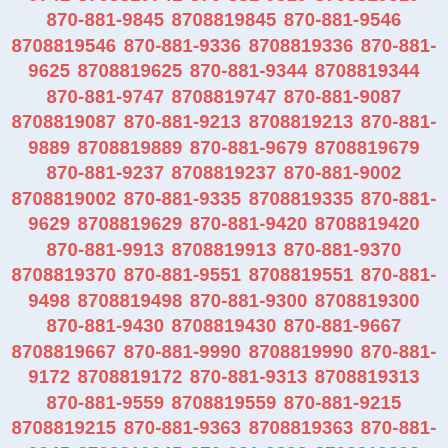8708819098 870-881-9868 8708819868 870-881-9279 8708819279 870-881-9418 8708819418 870-881-9008 8708819008 870-881-9649 8708819649 870-881-9379 8708819379 870-881-9741 8708819741 870-881-9519 8708819519 870-881-9845 8708819845 870-881-9546 8708819546 870-881-9336 8708819336 870-881-9625 8708819625 870-881-9344 8708819344 870-881-9747 8708819747 870-881-9087 8708819087 870-881-9213 8708819213 870-881-9889 8708819889 870-881-9679 8708819679 870-881-9237 8708819237 870-881-9002 8708819002 870-881-9335 8708819335 870-881-9629 8708819629 870-881-9420 8708819420 870-881-9913 8708819913 870-881-9370 8708819370 870-881-9551 8708819551 870-881-9498 8708819498 870-881-9300 8708819300 870-881-9430 8708819430 870-881-9667 8708819667 870-881-9990 8708819990 870-881-9172 8708819172 870-881-9313 8708819313 870-881-9559 8708819559 870-881-9215 8708819215 870-881-9363 8708819363 870-881-9945 8708819945 870-881-9398 8708819398 870-881-9219 8708819219 870-881-9159 8708819159 870-881-9486 8708819486 870-881-9118 8708819118 870-881-9246 8708819246 870-881-